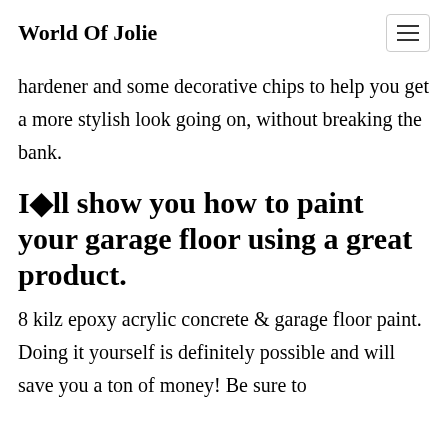World Of Jolie
hardener and some decorative chips to help you get a more stylish look going on, without breaking the bank.
I◆ll show you how to paint your garage floor using a great product.
8 kilz epoxy acrylic concrete & garage floor paint. Doing it yourself is definitely possible and will save you a ton of money! Be sure to